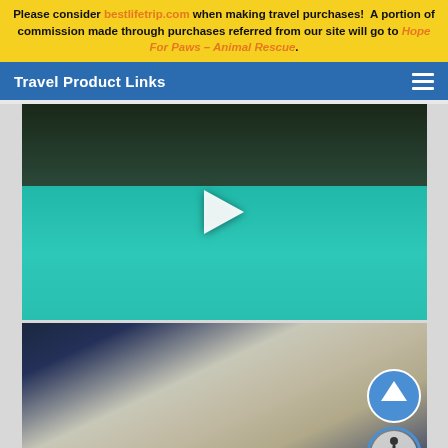Please consider bestlifetrip.com when making travel purchases! A portion of commission made through purchases referred from our site will go to Hope For Paws - Animal Rescue.
Travel Product Links
[Figure (screenshot): Underwater video thumbnail with play button, showing teal/turquoise water with dark upper portion]
[Figure (screenshot): Underwater video thumbnail showing a translucent jellyfish or marine creature in dark blue water with up-arrow and accessibility icons overlaid]